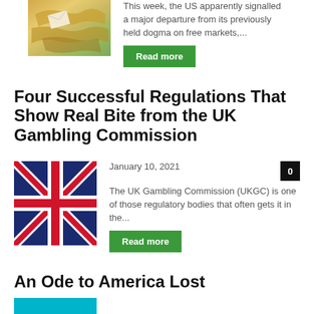[Figure (photo): Map image showing geographic region, partially visible at top]
This week, the US apparently signalled a major departure from its previously held dogma on free markets,...
Read more
Four Successful Regulations That Show Real Bite from the UK Gambling Commission
[Figure (photo): UK flag (Union Jack) against blue sky]
January 10, 2021
0
The UK Gambling Commission (UKGC) is one of those regulatory bodies that often gets it in the...
Read more
An Ode to America Lost
[Figure (photo): Cyan/teal colored image, partially visible at bottom]